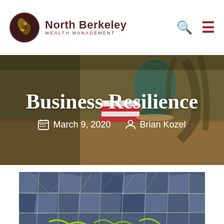[Figure (logo): North Berkeley Wealth Management logo with circular icon and text]
[Figure (photo): Hero banner photo showing books, ceramic vase and plant shadows on warm background. Overlaid with title 'Business Resilience' and date/author metadata.]
Business Resilience
March 9, 2020   Brian Kozel
[Figure (photo): Close-up photo of blue cracked stone or mosaic pattern with yellow accents at bottom]